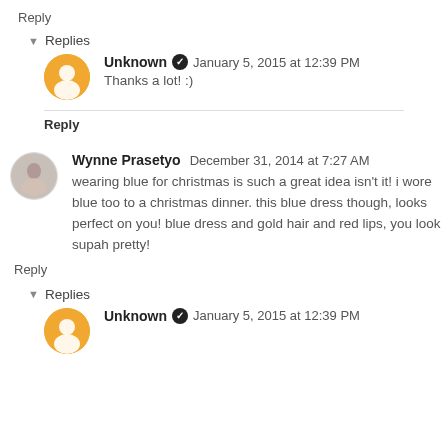Reply
▾ Replies
Unknown ✔ January 5, 2015 at 12:39 PM
Thanks a lot! :)
Reply
Wynne Prasetyo  December 31, 2014 at 7:27 AM
wearing blue for christmas is such a great idea isn't it! i wore blue too to a christmas dinner. this blue dress though, looks perfect on you! blue dress and gold hair and red lips, you look supah pretty!
Reply
▾ Replies
Unknown ✔ January 5, 2015 at 12:39 PM